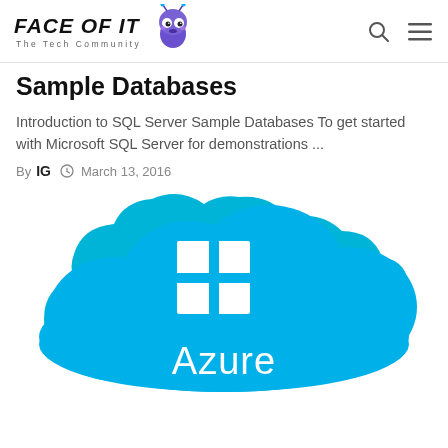FACE OF IT — The Tech Community
Sample Databases
Introduction to SQL Server Sample Databases To get started with Microsoft SQL Server for demonstrations ...
By IG  March 13, 2016
[Figure (illustration): Microsoft Azure logo: a blue cloud shape with a white Windows logo (four-pane window) and the word 'Azure' in white text below it on the cloud.]